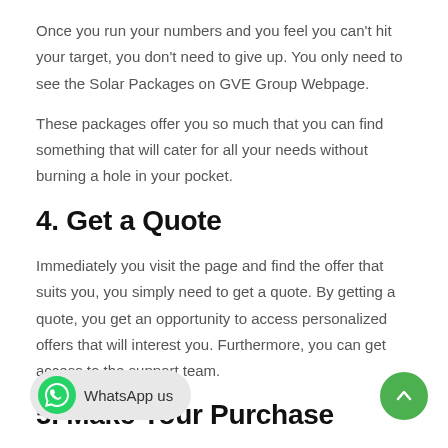Once you run your numbers and you feel you can't hit your target, you don't need to give up. You only need to see the Solar Packages on GVE Group Webpage.
These packages offer you so much that you can find something that will cater for all your needs without burning a hole in your pocket.
4. Get a Quote
Immediately you visit the page and find the offer that suits you, you simply need to get a quote. By getting a quote, you get an opportunity to access personalized offers that will interest you. Furthermore, you can get access to the support team.
5. Make Your Purchase
It would all be an exercise in futility if you don't make a purchase.